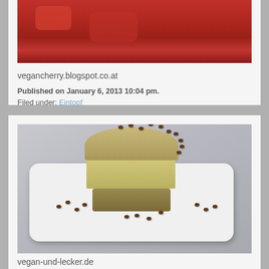[Figure (photo): Close-up photo of a red tomato-based stew or dish in a sauce]
vegancherry.blogspot.co.at
Published on January 6, 2013 10:04 pm.
Filed under: Eintopf
[Figure (photo): Photo of a layered mousse or cheesecake dessert on a white rectangular plate, topped with small chocolate-coated beans or nuts scattered around]
vegan-und-lecker.de